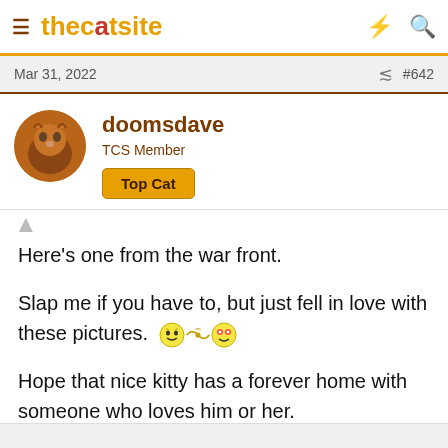thecatsite
Mar 31, 2022  #642
doomsdave
TCS Member
Top Cat
Here's one from the war front.
Slap me if you have to, but just fell in love with these pictures. 😺🐱😍
Hope that nice kitty has a forever home with someone who loves him or her.